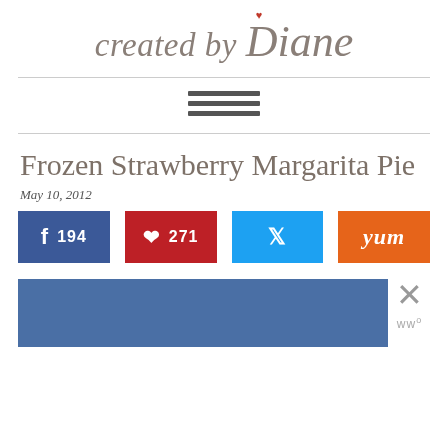created by Diane
[Figure (logo): Created by Diane blog logo with stylized italic text and a small red heart above the D]
Frozen Strawberry Margarita Pie
May 10, 2012
[Figure (infographic): Social sharing buttons: Facebook 194, Pinterest 271, Twitter, Yummly]
[Figure (other): Advertisement banner with blue background and close button]